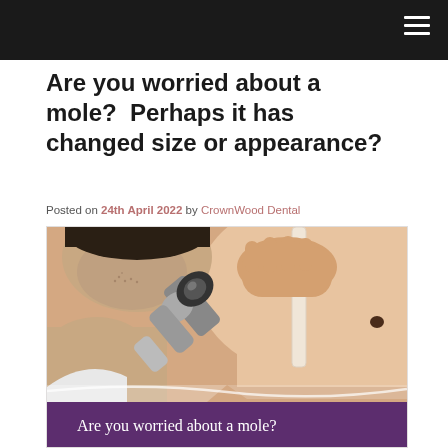Are you worried about a mole?  Perhaps it has changed size or appearance?
Posted on 24th April 2022 by CrownWood Dental
[Figure (photo): A doctor using a dermatoscope to examine a mole on a patient's shoulder. Lower portion shows a purple banner with white text reading 'Are you worried about a mole?']